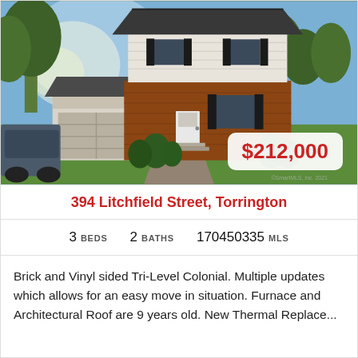[Figure (photo): Exterior photo of a brick and vinyl sided two-story colonial house with attached garage, dark shutters, manicured shrubs, and a paved driveway. Price badge showing $212,000 overlaid in bottom right corner.]
394 Litchfield Street, Torrington
3 BEDS   2 BATHS   170450335 MLS
Brick and Vinyl sided Tri-Level Colonial. Multiple updates which allows for an easy move in situation. Furnace and Architectural Roof are 9 years old. New Thermal Replace...